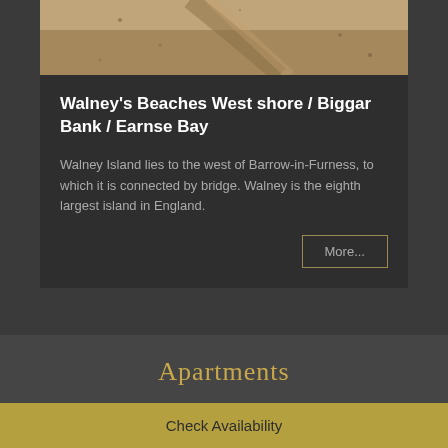[Figure (photo): Sandy beach / shoreline with brown sand texture, partial view from top]
Walney’s Beaches West shore / Biggar Bank / Earnse Bay
Walney Island lies to the west of Barrow-in-Furness, to which it is connected by bridge. Walney is the eighth largest island in England.
More...
Apartments
Check Availability